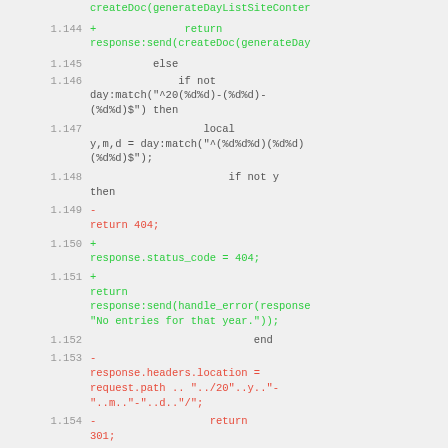[Figure (screenshot): Code diff view showing lines 1.144 through 1.155 of a Lua script with added (green) and removed (red) lines involving HTTP response handling, date matching, and redirect logic.]